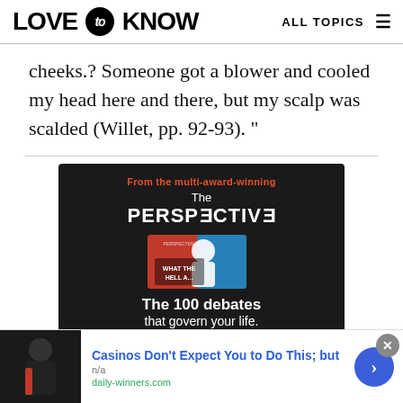LOVE to KNOW   ALL TOPICS
cheeks.? Someone got a blower and cooled my head here and there, but my scalp was scalded (Willet, pp. 92-93). "
[Figure (infographic): Advertisement for 'The Perspective' book. Dark background with red tagline 'From the multi-award-winning', white title 'The PERSPECTIVE', book cover image showing 'WHAT THE HELL...' text, subtitle 'The 100 debates that govern your life.' and 'Available on Amazon' button.]
[Figure (infographic): Bottom advertisement banner: image of person in dark jacket on left, blue text 'Casinos Don't Expect You to Do This; but', 'n/a', green text 'daily-winners.com', blue circle arrow button on right, close X button top right.]